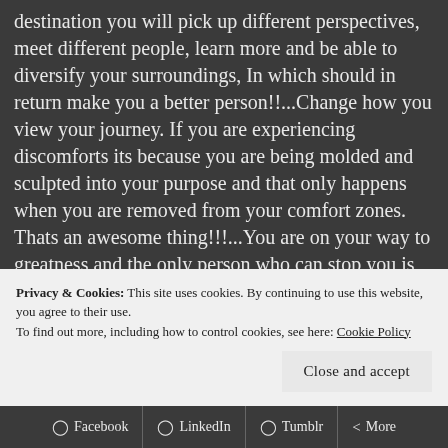destination you will pick up different perspectives, meet different people, learn more and be able to diversify your surroundings, In which should in return make you a better person!!...Change how you view your journey. If you are experiencing discomforts its because you are being molded and sculpted into your purpose and that only happens when you are removed from your comfort zones. Thats an awesome thing!!!...You are on your way to greatness and the only person who can stop you is YOU!. So why are you holding yourself back! Love yourself enough and trust God enough(regardless of your religion) to know your path is already directed you just have to follow the script designed to achieve it. YOU CAN DO IT!! HAPPY MONDAY!!! CYBER HUGS BRAVE STARS!!!
Privacy & Cookies: This site uses cookies. By continuing to use this website, you agree to their use.
To find out more, including how to control cookies, see here: Cookie Policy
Close and accept
Facebook  LinkedIn  Tumblr  More